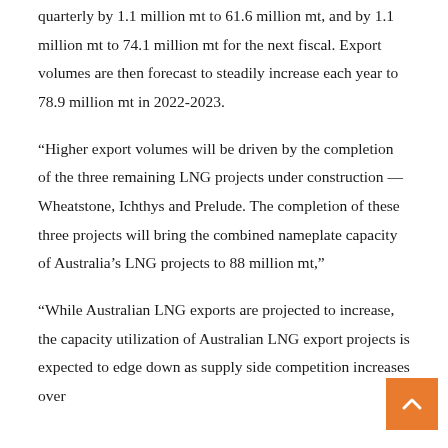quarterly by 1.1 million mt to 61.6 million mt, and by 1.1 million mt to 74.1 million mt for the next fiscal. Export volumes are then forecast to steadily increase each year to 78.9 million mt in 2022-2023.
“Higher export volumes will be driven by the completion of the three remaining LNG projects under construction — Wheatstone, Ichthys and Prelude. The completion of these three projects will bring the combined nameplate capacity of Australia’s LNG projects to 88 million mt,”
“While Australian LNG exports are projected to increase, the capacity utilization of Australian LNG export projects is expected to edge down as supply side competition increases over